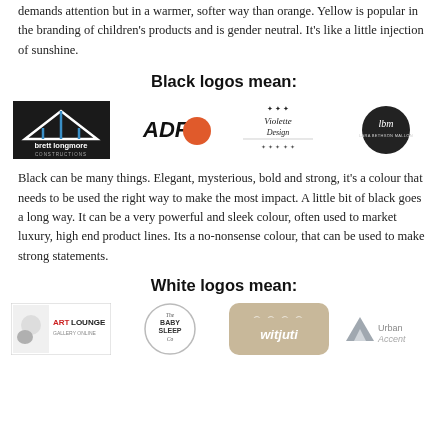demands attention but in a warmer, softer way than orange. Yellow is popular in the branding of children's products and is gender neutral. It's like a little injection of sunshine.
Black logos mean:
[Figure (logo): Four black logos: brett longmore constructions, ADFX with orange circle, Violette Design script logo, lbm circular logo]
Black can be many things. Elegant, mysterious, bold and strong, it's a colour that needs to be used the right way to make the most impact. A little bit of black goes a long way. It can be a very powerful and sleek colour, often used to market luxury, high end product lines. Its a no-nonsense colour, that can be used to make strong statements.
White logos mean:
[Figure (logo): Four logos: ArtLounge Gallery Online, The Baby Sleep Co, witjuti (tan background), Urban Accent (grey)]